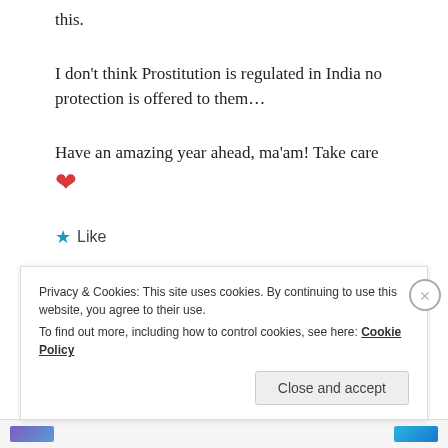this.
I don’t think Prostitution is regulated in India no protection is offered to them…
Have an amazing year ahead, ma’am! Take care ❤
★ Like
REPLY
Privacy & Cookies: This site uses cookies. By continuing to use this website, you agree to their use.
To find out more, including how to control cookies, see here: Cookie Policy
Close and accept